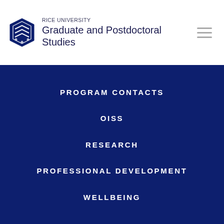RICE UNIVERSITY Graduate and Postdoctoral Studies
PROGRAM CONTACTS
OISS
RESEARCH
PROFESSIONAL DEVELOPMENT
WELLBEING